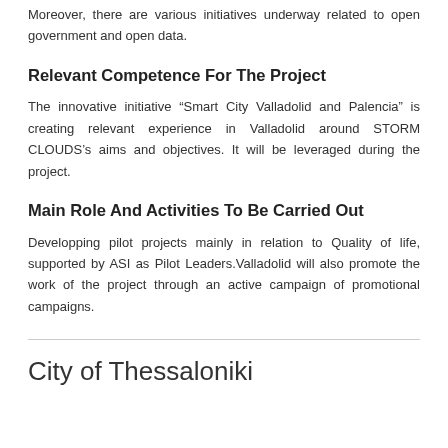Moreover, there are various initiatives underway related to open government and open data.
Relevant Competence For The Project
The innovative initiative “Smart City Valladolid and Palencia” is creating relevant experience in Valladolid around STORM CLOUDS’s aims and objectives. It will be leveraged during the project.
Main Role And Activities To Be Carried Out
Developping pilot projects mainly in relation to Quality of life, supported by ASI as Pilot Leaders.Valladolid will also promote the work of the project through an active campaign of promotional campaigns.
City of Thessaloniki